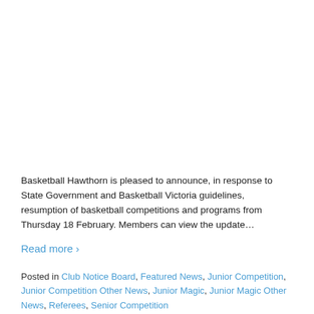Basketball Hawthorn is pleased to announce, in response to State Government and Basketball Victoria guidelines, resumption of basketball competitions and programs from Thursday 18 February. Members can view the update…
Read more ›
Posted in Club Notice Board, Featured News, Junior Competition, Junior Competition Other News, Junior Magic, Junior Magic Other News, Referees, Senior Competition